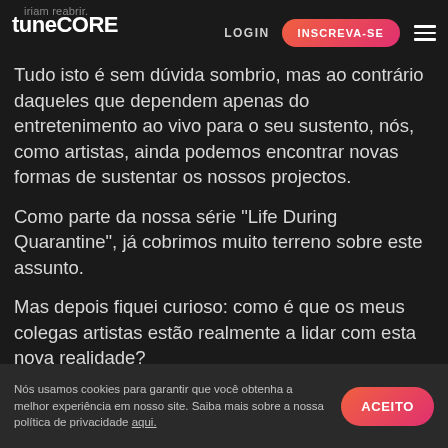tunecore  LOGIN  INSCREVA-SE
Tudo isto é sem dúvida sombrio, mas ao contrário daqueles que dependem apenas do entretenimento ao vivo para o seu sustento, nós, como artistas, ainda podemos encontrar novas formas de sustentar os nossos projectos.
Como parte da nossa série "Life During Quarantine", já cobrimos muito terreno sobre este assunto.
Mas depois fiquei curioso: como é que os meus colegas artistas estão realmente a lidar com esta nova realidade?
Siv Jakobsen: "Fazer transmissões ao vivo tem sido
Nós usamos cookies para garantir que você obtenha a melhor experiência em nosso site. Saiba mais sobre a nossa política de privacidade aqui.